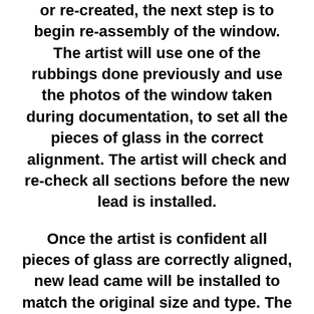or re-created, the next step is to begin re-assembly of the window. The artist will use one of the rubbings done previously and use the photos of the window taken during documentation, to set all the pieces of glass in the correct alignment. The artist will check and re-check all sections before the new lead is installed.
Once the artist is confident all pieces of glass are correctly aligned, new lead came will be installed to match the original size and type. The pieces of glass are inserted into the “U” channel in the lead came and held in place with pins, until the next piece can be inserted. The entire window is re-assembled 1 piece at a time. All the lead joints, where any 2